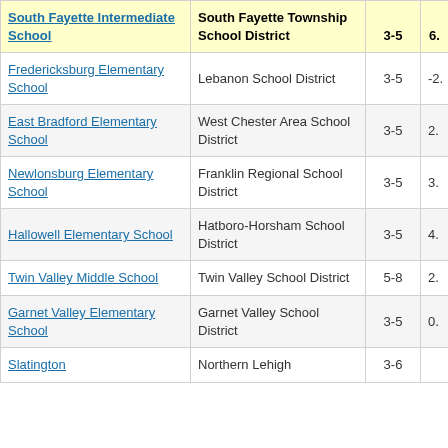| School | District | Grades | Score (partial) |
| --- | --- | --- | --- |
| South Fayette Intermediate School | South Fayette Township School District | 3-5 | 6. |
| Fredericksburg Elementary School | Lebanon School District | 3-5 | -2. |
| East Bradford Elementary School | West Chester Area School District | 3-5 | 2. |
| Newlonsburg Elementary School | Franklin Regional School District | 3-5 | 3. |
| Hallowell Elementary School | Hatboro-Horsham School District | 3-5 | 4. |
| Twin Valley Middle School | Twin Valley School District | 5-8 | 2. |
| Garnet Valley Elementary School | Garnet Valley School District | 3-5 | 0. |
| Slatington | Northern Lehigh | 3-6 |  |